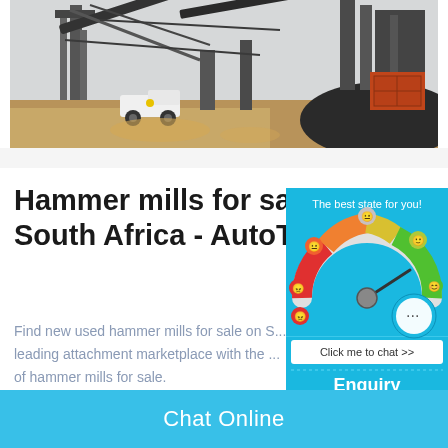[Figure (photo): Industrial mining/quarry site with large conveyor belts, heavy machinery, a white pickup truck, and piles of rock/ore material on dusty ground.]
Hammer mills for sale in South Africa - AutoTra...
Find new used hammer mills for sale on S... leading attachment marketplace with the ... of hammer mills for sale.
[Figure (infographic): Blue widget panel showing a speedometer/gauge graphic with emoji faces ranging from angry (red) to happy (green), labeled 'The best state for you!' with a chat button 'Click me to chat >>' and sections for Enquiry and email cywaitml@gmail.com]
Chat Online